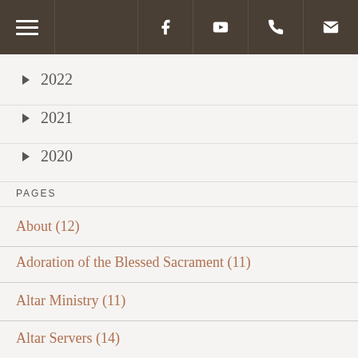Navigation bar with hamburger menu, Facebook, YouTube, phone, and email icons
▶ 2022
▶ 2021
▶ 2020
PAGES
About (12)
Adoration of the Blessed Sacrament (11)
Altar Ministry (11)
Altar Servers (14)